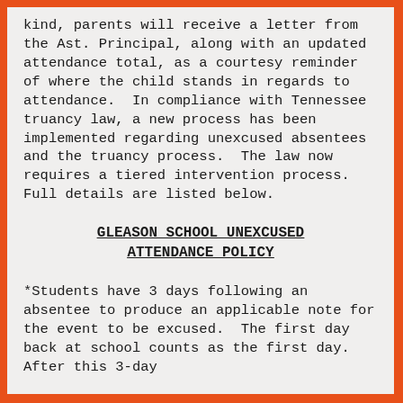kind, parents will receive a letter from the Ast. Principal, along with an updated attendance total, as a courtesy reminder of where the child stands in regards to attendance.  In compliance with Tennessee truancy law, a new process has been implemented regarding unexcused absentees and the truancy process.  The law now requires a tiered intervention process.  Full details are listed below.
GLEASON SCHOOL UNEXCUSED ATTENDANCE POLICY
*Students have 3 days following an absentee to produce an applicable note for the event to be excused.  The first day back at school counts as the first day.  After this 3-day